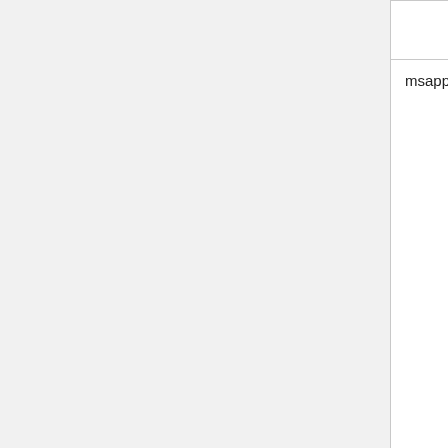| Name | Description |
| --- | --- |
| msapplication-tap-highlight | Link ...

The " auton IE10 ...

<me co |
| msapplication-task | "Jum

Jump brows desti some called your v

<MI co |